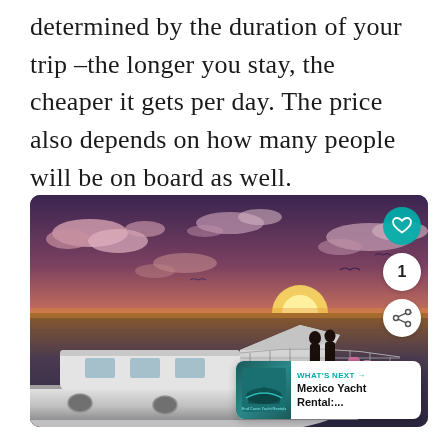determined by the duration of your trip –the longer you stay, the cheaper it gets per day. The price also depends on how many people will be on board as well.
[Figure (illustration): Animated/illustrated image of a couple standing on a luxury yacht deck watching a sunset over the ocean, with pink clouds in the sky. Overlaid UI elements include a teal heart/like button, a share button showing '1', and a 'What's Next' card showing Mexico Yacht Rental.]